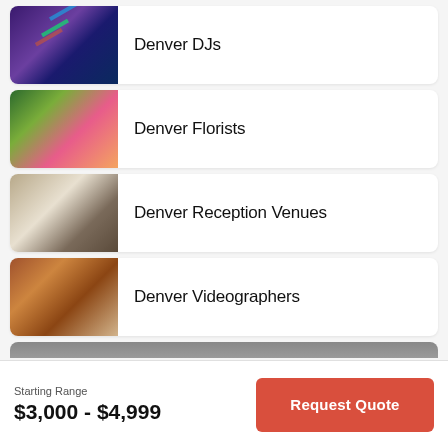Denver DJs
Denver Florists
Denver Reception Venues
Denver Videographers
[Figure (photo): Partial thumbnail at bottom, cropped]
Starting Range
$3,000 - $4,999
Request Quote